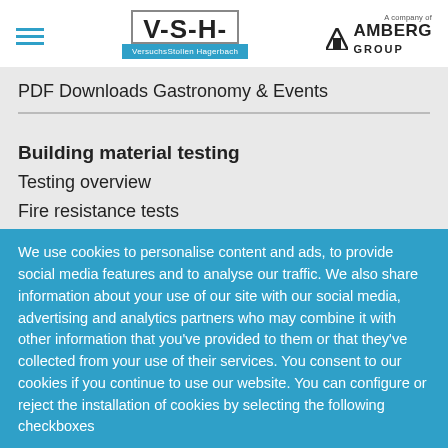[Figure (logo): VSH VersuchsStollen Hagerbach logo with blue bar, and Amberg Group logo with hamburger menu icon]
PDF Downloads Gastronomy & Events
Building material testing
Testing overview
Fire resistance tests
Consulting
Locations & contact
Downloads
We use cookies to personalise content and ads, to provide social media features and to analyse our traffic. We also share information about your use of our site with our social media, advertising and analytics partners who may combine it with other information that you've provided to them or that they've collected from your use of their services. You consent to our cookies if you continue to use our website. You can configure or reject the installation of cookies by selecting the following checkboxes